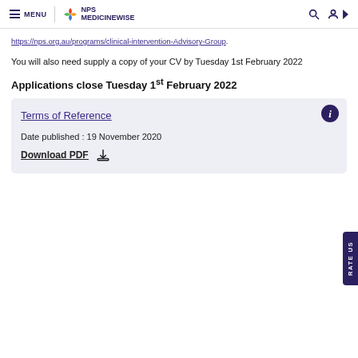MENU | NPS MEDICINEWISE
https://nps.org.au/programs/clinical-intervention-Advisory-Group.
You will also need supply a copy of your CV by Tuesday 1st February 2022
Applications close Tuesday 1st February 2022
| Terms of Reference |  |
| Date published : 19 November 2020 |  |
| Download PDF |  |